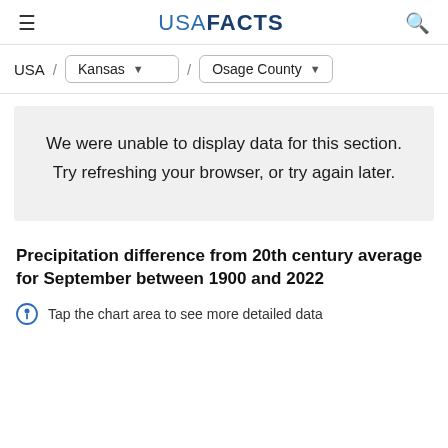USA FACTS
USA / Kansas / Osage County
We were unable to display data for this section. Try refreshing your browser, or try again later.
Precipitation difference from 20th century average for September between 1900 and 2022
Tap the chart area to see more detailed data